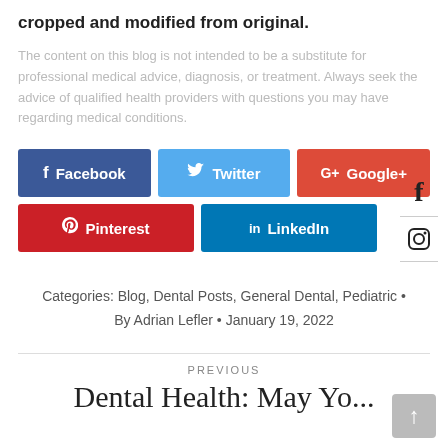cropped and modified from original.
The content on this blog is not intended to be a substitute for professional medical advice, diagnosis, or treatment. Always seek the advice of qualified health providers with questions you may have regarding medical conditions.
[Figure (infographic): Social sharing buttons: Facebook (dark blue), Twitter (light blue), Google+ (red), Pinterest (red), LinkedIn (teal/blue)]
[Figure (infographic): Sidebar social icons: Facebook f icon and Instagram camera icon with horizontal dividers]
Categories: Blog, Dental Posts, General Dental, Pediatric • By Adrian Lefler • January 19, 2022
PREVIOUS
Dental Health: May Yo...